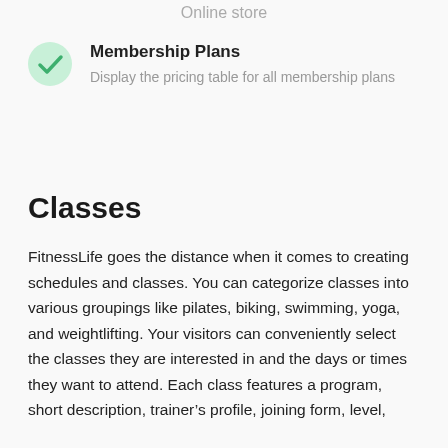Online store
Membership Plans
Display the pricing table for all membership plans
Classes
FitnessLife goes the distance when it comes to creating schedules and classes. You can categorize classes into various groupings like pilates, biking, swimming, yoga, and weightlifting. Your visitors can conveniently select the classes they are interested in and the days or times they want to attend. Each class features a program, short description, trainer's profile, joining form, level,